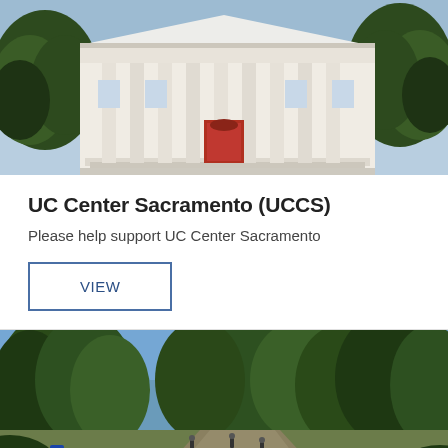[Figure (photo): Exterior photograph of a neoclassical white building (UC Center Sacramento) with large columns, clear blue sky, and trees on either side.]
UC Center Sacramento (UCCS)
Please help support UC Center Sacramento
VIEW
[Figure (photo): Aerial/elevated outdoor photograph of a tree-lined campus path or road with people walking, green trees, blue sky, and a circular design on the ground.]